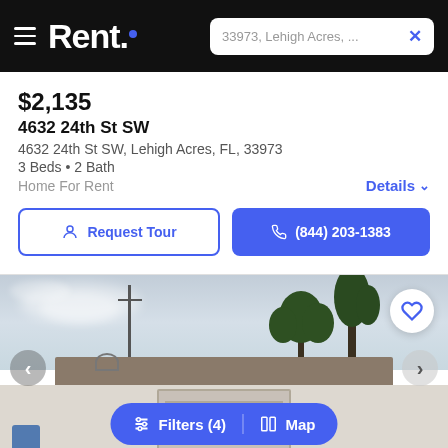Rent. — 33973, Lehigh Acres, ...
$2,135
4632 24th St SW
4632 24th St SW, Lehigh Acres, FL, 33973
3 Beds • 2 Bath
Home For Rent
Details
Request Tour
(844) 203-1383
[Figure (photo): Exterior photo of a single-family home in Lehigh Acres, FL showing roof, garage, trees, and cloudy sky]
Filters (4)  |  Map